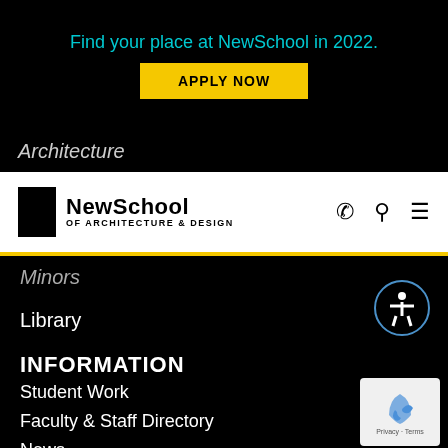Find your place at NewSchool in 2022.
APPLY NOW
Architecture
[Figure (logo): NewSchool of Architecture & Design logo with black square and bold text]
Minors
Library
Programs & Resources
INFORMATION
Student Work
Faculty & Staff Directory
News